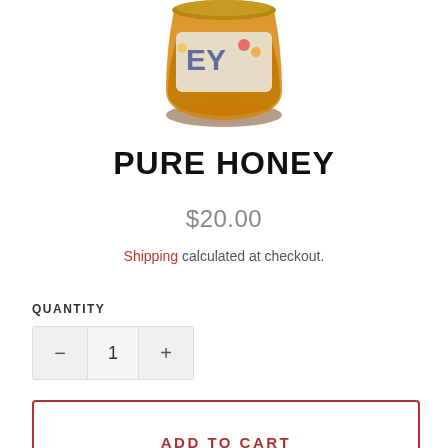[Figure (photo): Partial view of a honey jar from above showing amber-colored honey and a colorful label with letters visible]
PURE HONEY
$20.00
Shipping calculated at checkout.
QUANTITY
1
ADD TO CART